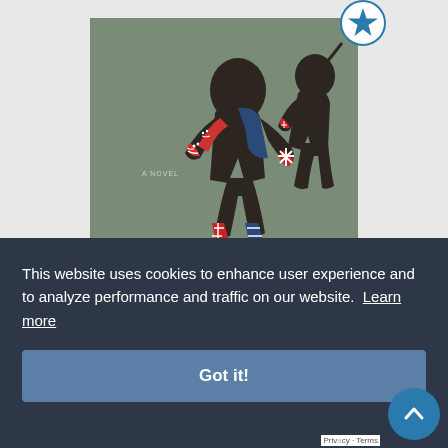[Figure (illustration): Book cover illustration showing dark silhouetted figures in motion wearing clothing with American and British flag patterns. Text 'A NOVEL' visible on cover. Bottom portion shows partial large text (book title).]
This website uses cookies to enhance user experience and to analyze performance and traffic on our website. Learn more
Got it!